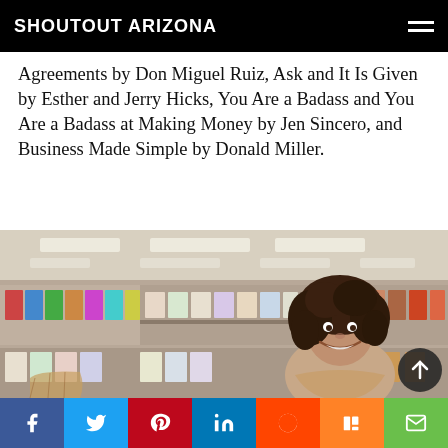SHOUTOUT ARIZONA
Agreements by Don Miguel Ruiz, Ask and It Is Given by Esther and Jerry Hicks, You Are a Badass and You Are a Badass at Making Money by Jen Sincero, and Business Made Simple by Donald Miller.
[Figure (photo): Woman with curly dark hair smiling in a grocery store aisle with colorful products on shelves behind her]
Social share bar: Facebook, Twitter, Pinterest, LinkedIn, Reddit, Mix, Email